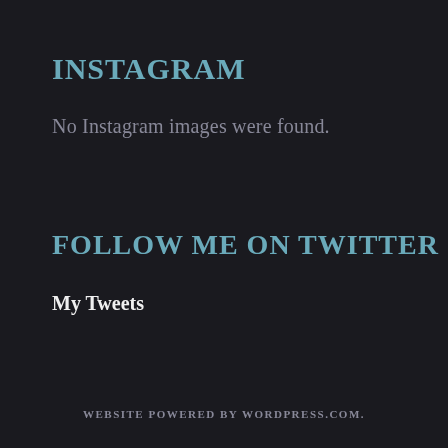INSTAGRAM
No Instagram images were found.
FOLLOW ME ON TWITTER
My Tweets
WEBSITE POWERED BY WORDPRESS.COM.